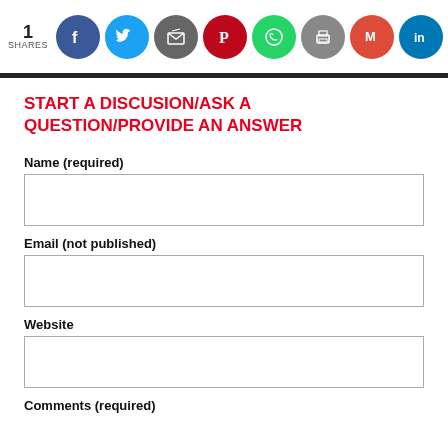1 SHARES [social share icons: Facebook, Twitter, Share, Pinterest, WhatsApp, Print, Gmail, LinkedIn, Google]
START A DISCUSION/ASK A QUESTION/PROVIDE AN ANSWER
Name (required)
Email (not published)
Website
Comments (required)